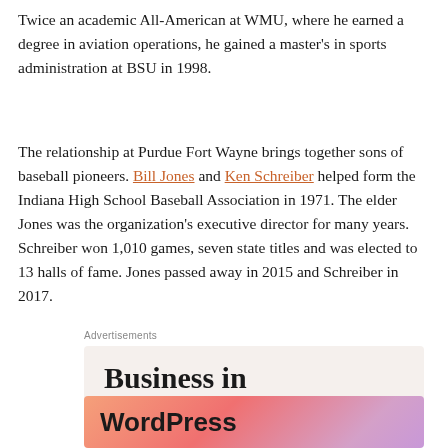Twice an academic All-American at WMU, where he earned a degree in aviation operations, he gained a master’s in sports administration at BSU in 1998.
The relationship at Purdue Fort Wayne brings together sons of baseball pioneers. Bill Jones and Ken Schreiber helped form the Indiana High School Baseball Association in 1971. The elder Jones was the organization’s executive director for many years. Schreiber won 1,010 games, seven state titles and was elected to 13 halls of fame. Jones passed away in 2015 and Schreiber in 2017.
Advertisements
[Figure (other): Advertisement banner with text ‘Business in the front...’ on a light beige background]
[Figure (other): Advertisement banner with WordPress logo text on a gradient orange-pink-purple background]